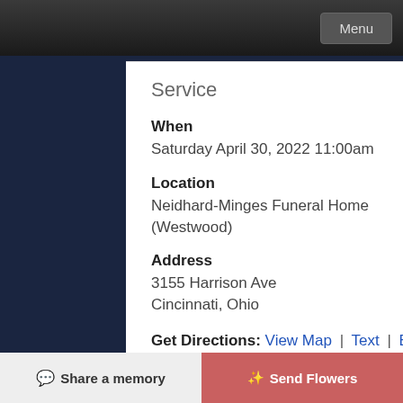Menu
Service
When
Saturday April 30, 2022 11:00am
Location
Neidhard-Minges Funeral Home (Westwood)
Address
3155 Harrison Ave
Cincinnati, Ohio
Get Directions: View Map | Text | Email
Officiant
Father Scott Morgan
Share a memory | Send Flowers